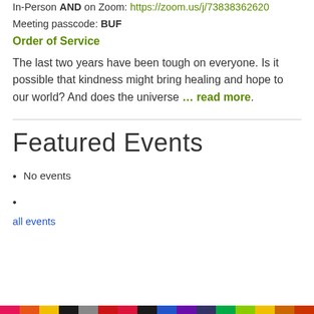In-Person AND on Zoom: https://zoom.us/j/73838362620
Meeting passcode: BUF
Order of Service
The last two years have been tough on everyone. Is it possible that kindness might bring healing and hope to our world? And does the universe … read more.
Featured Events
No events
all events